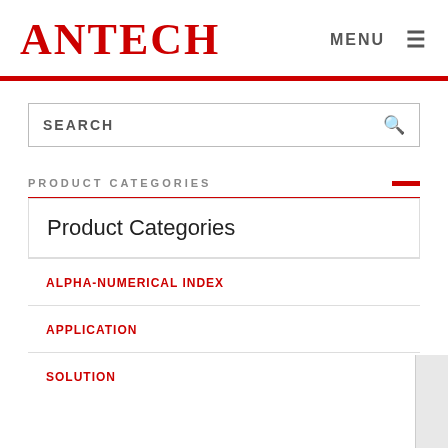ANTECH
MENU ☰
SEARCH
PRODUCT CATEGORIES
Product Categories
ALPHA-NUMERICAL INDEX
APPLICATION
SOLUTION